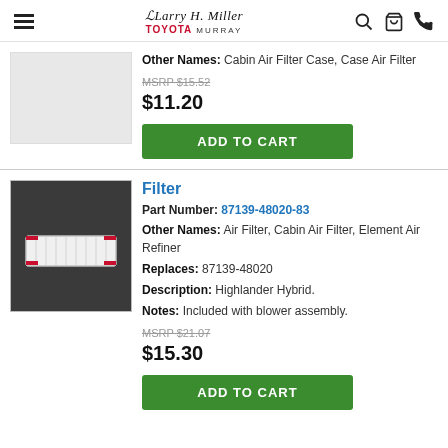Larry H. Miller Toyota Murray
Other Names: Cabin Air Filter Case, Case Air Filter
MSRP $15.52
$11.20
ADD TO CART
Filter
Part Number: 87139-48020-83
Other Names: Air Filter, Cabin Air Filter, Element Air Refiner
Replaces: 87139-48020
Description: Highlander Hybrid.
Notes: Included with blower assembly.
MSRP $21.07
$15.30
ADD TO CART